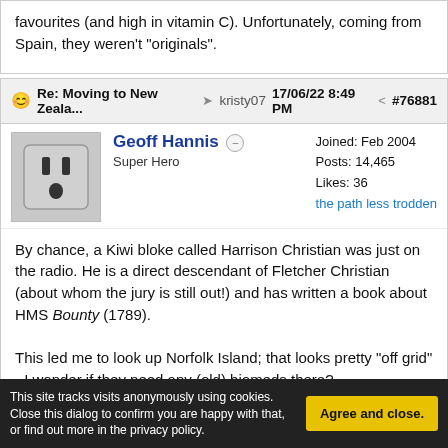favourites (and high in vitamin C). Unfortunately, coming from Spain, they weren't "originals".
Re: Moving to New Zeala... → kristy07 17/06/22 8:49 PM ≪ #76881
Geoff Hannis ○ Super Hero | Joined: Feb 2004 Posts: 14,465 Likes: 36 the path less trodden
By chance, a Kiwi bloke called Harrison Christian was just on the radio. He is a direct descendant of Fletcher Christian (about whom the jury is still out!) and has written a book about HMS Bounty (1789).

This led me to look up Norfolk Island; that looks pretty "off grid" - I wonder if they need any (old) biomeds there?

BTW, I reckon that Lieutenant (later Vice-Admiral) William Bligh's
This site tracks visits anonymously using cookies. Close this dialog to confirm you are happy with that, or find out more in the privacy policy.